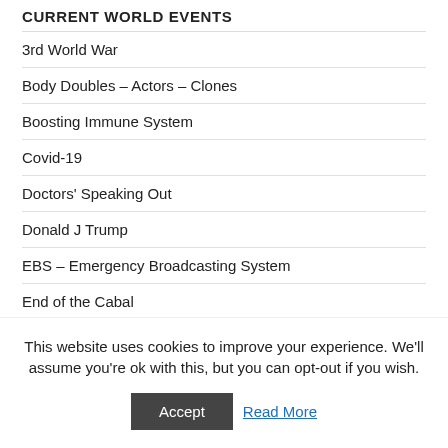CURRENT WORLD EVENTS
3rd World War
Body Doubles – Actors – Clones
Boosting Immune System
Covid-19
Doctors' Speaking Out
Donald J Trump
EBS – Emergency Broadcasting System
End of the Cabal
Know Your Rights
Last Days
Lock-downs
Med Beds & Suppressed Technology
This website uses cookies to improve your experience. We'll assume you're ok with this, but you can opt-out if you wish.
Accept
Read More